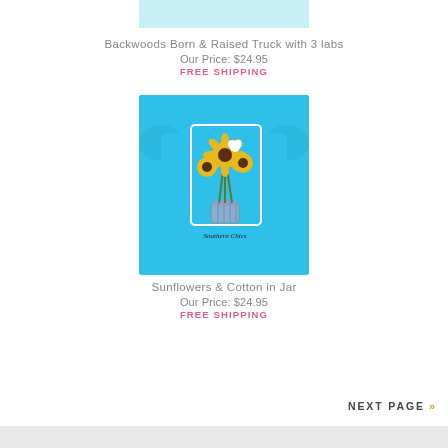[Figure (photo): Partial view of a light blue t-shirt product image at the top of the page]
Backwoods Born & Raised Truck with 3 labs
Our Price: $24.95
FREE SHIPPING
[Figure (photo): Back of a bright blue t-shirt with sunflowers and cotton in a mason jar design, labeled Southern Chics]
Sunflowers & Cotton in Jar
Our Price: $24.95
FREE SHIPPING
NEXT PAGE »